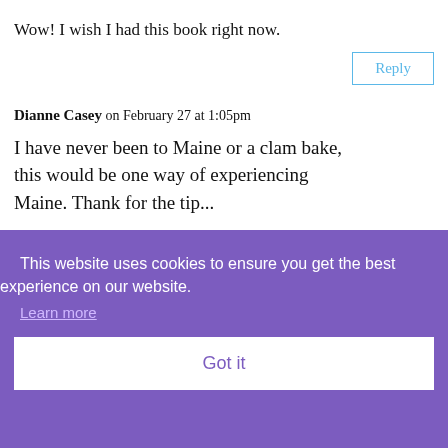Wow! I wish I had this book right now.
Reply
Dianne Casey on February 27 at 1:05pm
I have never been to Maine or a clam bake, this would be one way of experiencing Maine. Thank for the tip...
This website uses cookies to ensure you get the best experience on our website. Learn more Got it